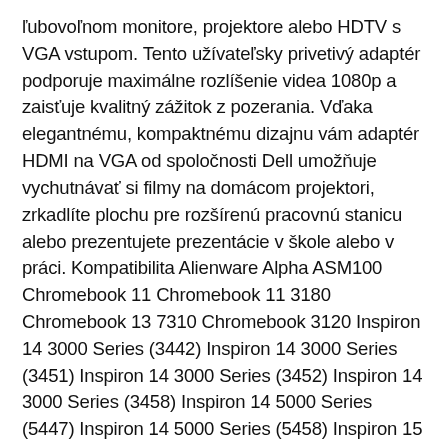ľubovoľnom monitore, projektore alebo HDTV s VGA vstupom. Tento užívateľsky privetivý adaptér podporuje maximálne rozlíšenie videa 1080p a zaisťuje kvalitný zážitok z pozerania. Vďaka elegantnému, kompaktnému dizajnu vám adaptér HDMI na VGA od spoločnosti Dell umožňuje vychutnávať si filmy na domácom projektori, zrkadlíte plochu pre rozšírenú pracovnú stanicu alebo prezentujete prezentácie v škole alebo v práci. Kompatibilita Alienware Alpha ASM100 Chromebook 11 Chromebook 11 3180 Chromebook 13 7310 Chromebook 3120 Inspiron 14 3000 Series (3442) Inspiron 14 3000 Series (3451) Inspiron 14 3000 Series (3452) Inspiron 14 3000 Series (3458) Inspiron 14 5000 Series (5447) Inspiron 14 5000 Series (5458) Inspiron 15 3000 Series (3541) Inspiron 15 3000 Series (3542) Inspiron 15 3000 Series (3543) Inspiron 15 5000 Series (5547) Inspiron 15 5000 Series (5548) Inspiron 15 7000 Series (7559) Inspiron 15 7000 Series (7568) Inspiron 17 7000 Series (7746) Inspiron 3250 Inspiron 3252 Inspiron 3650 Inspiron 3655 Inspiron 3656 Inspiron 3847 Inspiron 5551 Inspiron 5558 Inspiron one 20 (3048) Latitude 10 (ST2) Latitude 10 (ST2e) Latitude 12 Rugged Extreme 7214 Latitude 14 Rugged 5414 Latitude 14 Rugged Extreme 7414 Latitude 3150 Latitude 3160